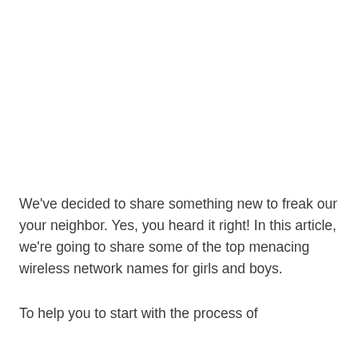We've decided to share something new to freak our your neighbor. Yes, you heard it right! In this article, we're going to share some of the top menacing wireless network names for girls and boys.
To help you to start with the process of